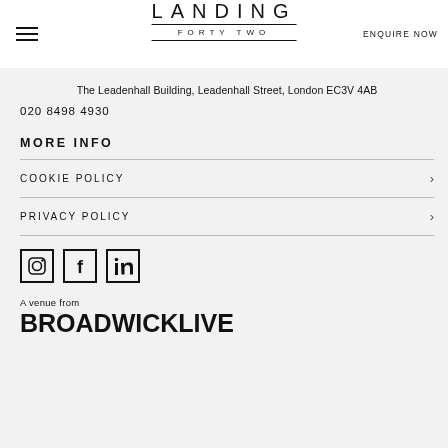LANDING FORTY TWO | ENQUIRE NOW
The Leadenhall Building, Leadenhall Street, London EC3V 4AB
020 8498 4930
MORE INFO
COOKIE POLICY
PRIVACY POLICY
[Figure (other): Social media icons: Instagram, Facebook, LinkedIn]
A venue from
BROADWICKLIVE